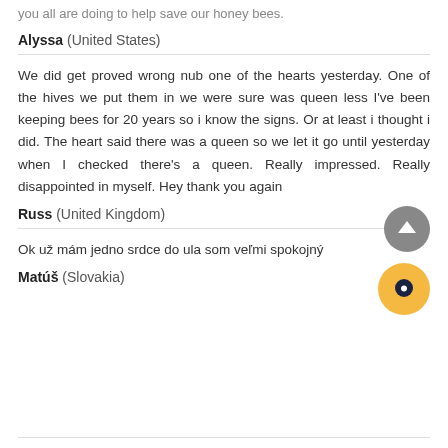you all are doing to help save our honey bees.
Alyssa (United States)
We did get proved wrong nub one of the hearts yesterday. One of the hives we put them in we were sure was queen less I've been keeping bees for 20 years so i know the signs. Or at least i thought i did. The heart said there was a queen so we let it go until yesterday when I checked there's a queen. Really impressed. Really disappointed in myself. Hey thank you again
Russ (United Kingdom)
Ok už mám jedno srdce do ula som veľmi spokojný
Matúš (Slovakia)